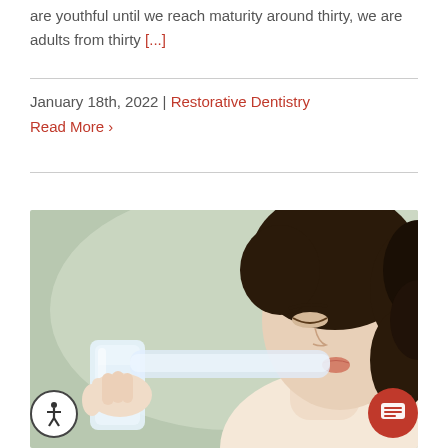are youthful until we reach maturity around thirty, we are adults from thirty [...]
January 18th, 2022 | Restorative Dentistry
Read More >
[Figure (photo): A woman with curly dark hair drinking from a clear plastic water bottle, photographed in profile against a soft green/gray blurred background.]